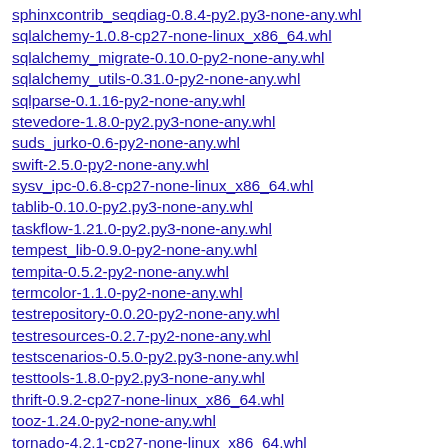sphinxcontrib_seqdiag-0.8.4-py2.py3-none-any.whl
sqlalchemy-1.0.8-cp27-none-linux_x86_64.whl
sqlalchemy_migrate-0.10.0-py2-none-any.whl
sqlalchemy_utils-0.31.0-py2-none-any.whl
sqlparse-0.1.16-py2-none-any.whl
stevedore-1.8.0-py2.py3-none-any.whl
suds_jurko-0.6-py2-none-any.whl
swift-2.5.0-py2-none-any.whl
sysv_ipc-0.6.8-cp27-none-linux_x86_64.whl
tablib-0.10.0-py2.py3-none-any.whl
taskflow-1.21.0-py2.py3-none-any.whl
tempest_lib-0.9.0-py2-none-any.whl
tempita-0.5.2-py2-none-any.whl
termcolor-1.1.0-py2-none-any.whl
testrepository-0.0.20-py2-none-any.whl
testresources-0.2.7-py2-none-any.whl
testscenarios-0.5.0-py2.py3-none-any.whl
testtools-1.8.0-py2.py3-none-any.whl
thrift-0.9.2-cp27-none-linux_x86_64.whl
tooz-1.24.0-py2-none-any.whl
tornado-4.2.1-cp27-none-linux_x86_64.whl
tosca_parser-0.1.0-py2-none-any.whl
traceback2-1.4.0-py2.py3-none-any.whl
tripleo_image_elements-0.8.10-cp27-none-linux_x86_64.whl
trollius-2.0-py2-none-any.whl